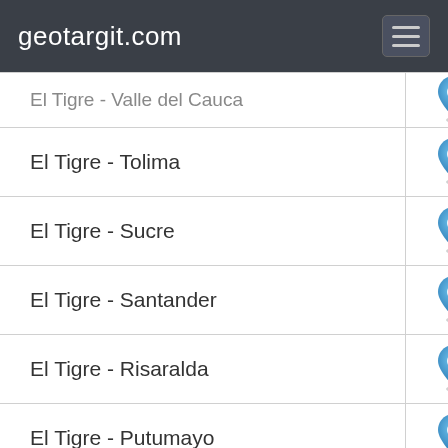geotargit.com
| Location | Map |
| --- | --- |
| El Tigre - Valle del Cauca |  |
| El Tigre - Tolima |  |
| El Tigre - Sucre |  |
| El Tigre - Santander |  |
| El Tigre - Risaralda |  |
| El Tigre - Putumayo |  |
| El Tigre - Meta |  |
| El Tigre - Magdalena |  |
| El Tigre - Huila |  |